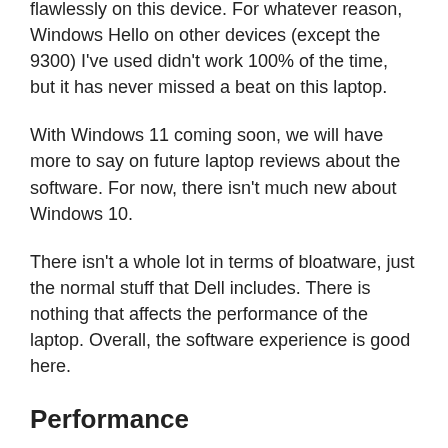flawlessly on this device. For whatever reason, Windows Hello on other devices (except the 9300) I've used didn't work 100% of the time, but it has never missed a beat on this laptop.
With Windows 11 coming soon, we will have more to say on future laptop reviews about the software. For now, there isn't much new about Windows 10.
There isn't a whole lot in terms of bloatware, just the normal stuff that Dell includes. There is nothing that affects the performance of the laptop. Overall, the software experience is good here.
Performance